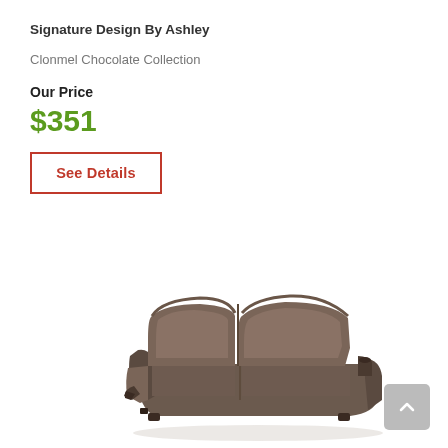Signature Design By Ashley
Clonmel Chocolate Collection
Our Price
$351
See Details
[Figure (photo): Brown/chocolate colored reclining sofa (loveseat) with plush cushioned seating and recliner mechanism, viewed from a slight angle]
[Figure (other): Back to top button arrow icon in grey square]